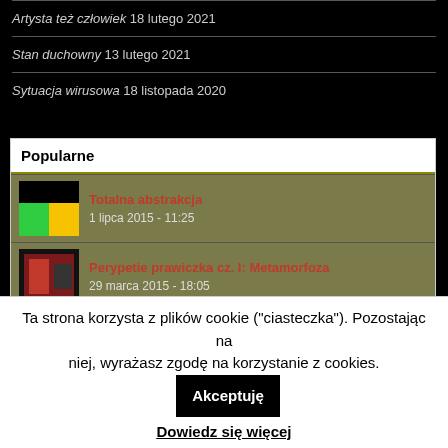Artysta też człowiek 18 lutego 2021
Stan duchowny 13 lutego 2021
Sytuacja wirusowa 18 listopada 2020
Popularne
Totalna abstrakcja
1 lipca 2015 - 11:25
Perypetie prawiczka cz. I: Metamorfoza
29 marca 2015 - 18:05
Pięćdziesiąt twarzy kota cz. I
21 czerwca 2015 - 11:05
Ta strona korzysta z plików cookie ("ciasteczka"). Pozostając na niej, wyrażasz zgodę na korzystanie z cookies.
Akceptuję
Dowiedz się więcej